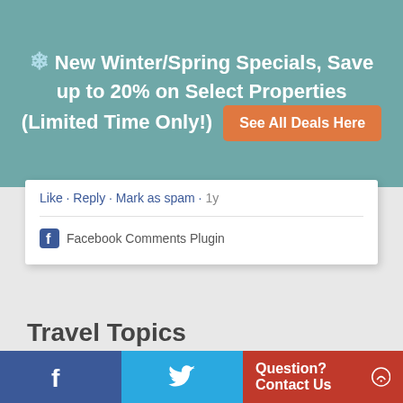[Figure (screenshot): Teal/green banner with snowflake icon and text: New Winter/Spring Specials, Save up to 20% on Select Properties (Limited Time Only!) with an orange 'See All Deals Here' button]
Like · Reply · Mark as spam · 1y
Facebook Comments Plugin
Travel Topics
All-Inclusive
Beauty
Food & Drink
[Figure (screenshot): Bottom navigation bar with Facebook icon (blue), Twitter bird icon (light blue), and 'Question? Contact Us' button (red) with chat icon]